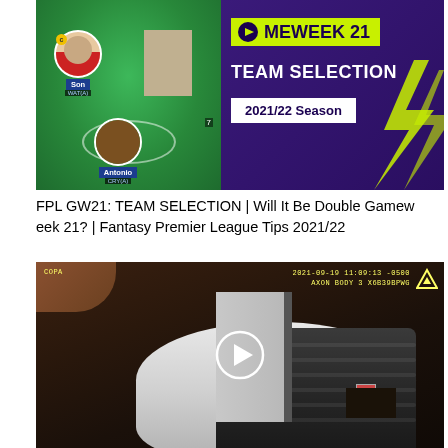[Figure (screenshot): YouTube thumbnail for FPL GW21 Team Selection video. Left half shows a Fantasy Premier League lineup on a green football pitch background with player cards for Son (WAT A), Bowen (CRY A), and Antonio (CRY A). Right half shows purple background with yellow GAMEWEEK 21 badge, TEAM SELECTION text in white, and 2021/22 Season badge in white box.]
FPL GW21: TEAM SELECTION | Will It Be Double Gameweek 21? | Fantasy Premier League Tips 2021/22
[Figure (screenshot): Body camera footage screenshot showing interior of a room with an inflatable or tent-like white structure. Timestamp 2021-09-19 11:09:13 -0500, AXON BODY 3 X6B39BPWG, COPA label top left. Play button icon overlaid in center.]